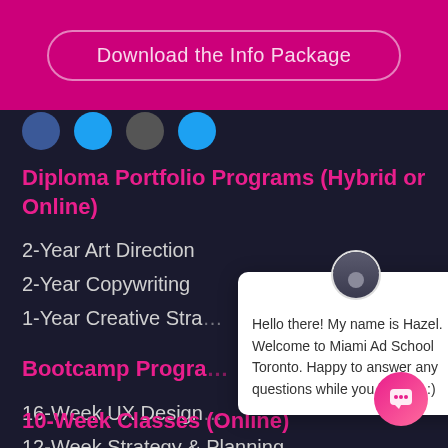[Figure (other): Magenta banner with 'Download the Info Package' button in rounded border]
[Figure (other): Row of social media icons (Facebook, Twitter, grey circle, light blue circle)]
Diploma Portfolio Programs (Hybrid or Online)
2-Year Art Direction
2-Year Copywriting
1-Year Creative Stra…
Bootcamp Progra…
16-Week UX Design…
12-Week Strategy & Planning
8-Week Pitch & Presentation
[Figure (other): Chat popup with avatar of person, close X button, text: Hello there! My name is Hazel. Welcome to Miami Ad School Toronto. Happy to answer any questions while you browse :)]
10-Week Classes (Online)
[Figure (other): Pink chat button in bottom right corner with speech bubble icon]